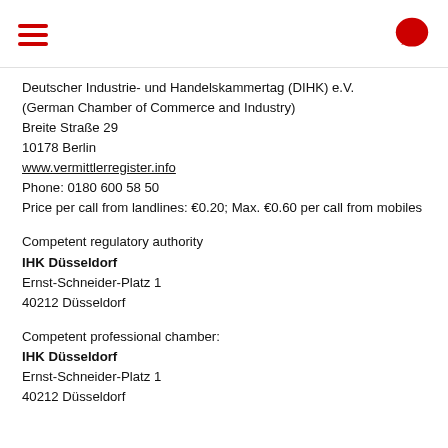Deutscher Industrie- und Handelskammertag (DIHK) e.V.
(German Chamber of Commerce and Industry)
Breite Straße 29
10178 Berlin
www.vermittlerregister.info
Phone: 0180 600 58 50
Price per call from landlines: €0.20; Max. €0.60 per call from mobiles
Competent regulatory authority
IHK Düsseldorf
Ernst-Schneider-Platz 1
40212 Düsseldorf
Competent professional chamber:
IHK Düsseldorf
Ernst-Schneider-Platz 1
40212 Düsseldorf